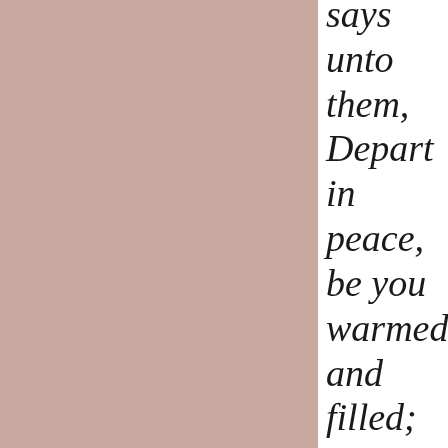[Figure (illustration): Left portion of the page is a solid dusty rose/mauve colored rectangle filling approximately 70% of the page width.]
says unto them, Depart in peace, be you warmed and filled; notwithst